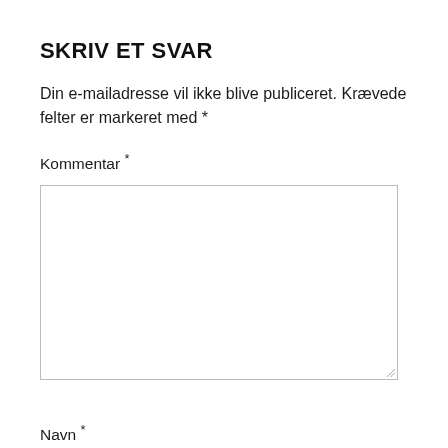SKRIV ET SVAR
Din e-mailadresse vil ikke blive publiceret. Krævede felter er markeret med *
Kommentar *
[Figure (other): Large empty textarea input box for comment entry]
Navn *